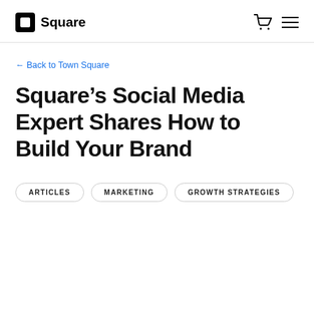Square
← Back to Town Square
Square's Social Media Expert Shares How to Build Your Brand
ARTICLES
MARKETING
GROWTH STRATEGIES